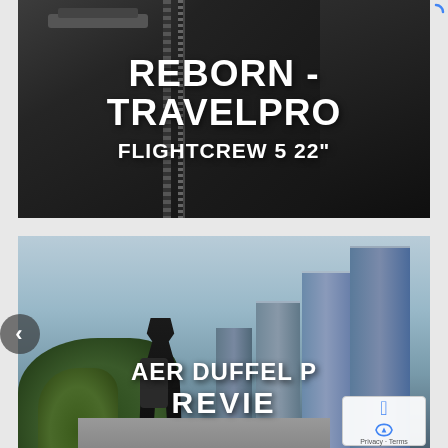[Figure (photo): Photo of black luggage/suitcases (Travelpro FlightCrew 5) with overlaid text reading 'REBORN - TRAVELPRO FLIGHTCREW 5 22"']
[Figure (photo): Photo of a person with a backpack standing in an urban city setting with tall buildings, partially visible text 'AER DUFFEL P' and 'REVIE' (review)]